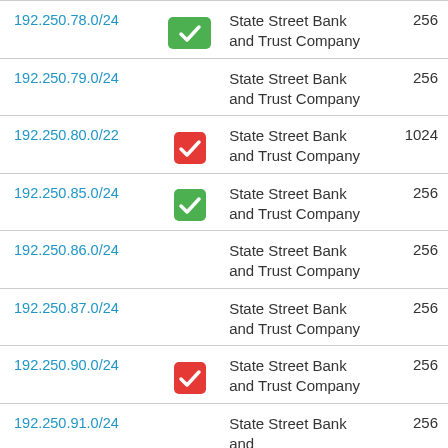| IP | Icon | Organization | Count |
| --- | --- | --- | --- |
| 192.250.78.0/24 | green-check | State Street Bank and Trust Company | 256 |
| 192.250.79.0/24 |  | State Street Bank and Trust Company | 256 |
| 192.250.80.0/22 | red-check | State Street Bank and Trust Company | 1024 |
| 192.250.85.0/24 | green-check | State Street Bank and Trust Company | 256 |
| 192.250.86.0/24 |  | State Street Bank and Trust Company | 256 |
| 192.250.87.0/24 |  | State Street Bank and Trust Company | 256 |
| 192.250.90.0/24 | red-check | State Street Bank and Trust Company | 256 |
| 192.250.91.0/24 |  | State Street Bank and | 256 |